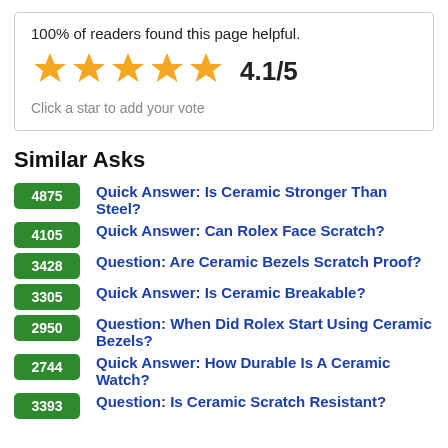100% of readers found this page helpful.
[Figure (other): 5 gold stars rating with 4.1/5 score and 'Click a star to add your vote' prompt]
Similar Asks
4875 Quick Answer: Is Ceramic Stronger Than Steel?
4105 Quick Answer: Can Rolex Face Scratch?
3428 Question: Are Ceramic Bezels Scratch Proof?
3305 Quick Answer: Is Ceramic Breakable?
2950 Question: When Did Rolex Start Using Ceramic Bezels?
2744 Quick Answer: How Durable Is A Ceramic Watch?
Question: Is Ceramic Scratch Resistant?